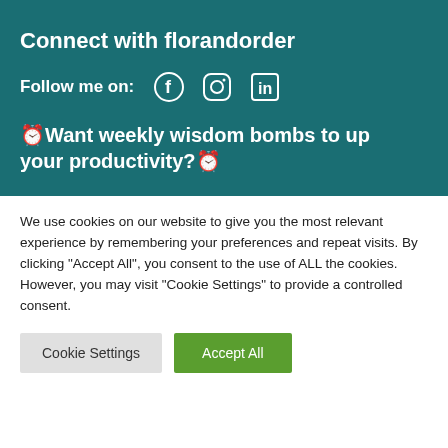Connect with florandorder
Follow me on:
[Figure (illustration): Social media icons: Facebook, Instagram, LinkedIn]
⏰Want weekly wisdom bombs to up your productivity?⏰
We use cookies on our website to give you the most relevant experience by remembering your preferences and repeat visits. By clicking "Accept All", you consent to the use of ALL the cookies. However, you may visit "Cookie Settings" to provide a controlled consent.
Cookie Settings | Accept All